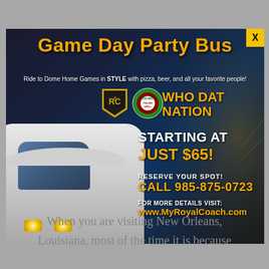[Figure (photo): Advertisement for Game Day Party Bus service. Dark background with stadium imagery and a white coach bus on the left. Features logos for Royal Coach, Coscino's Italian Grill, and Who Dat Nation. Text shows pricing starting at $65 and contact information.]
When you are visiting New Orleans, Louisiana, most of the time it is because